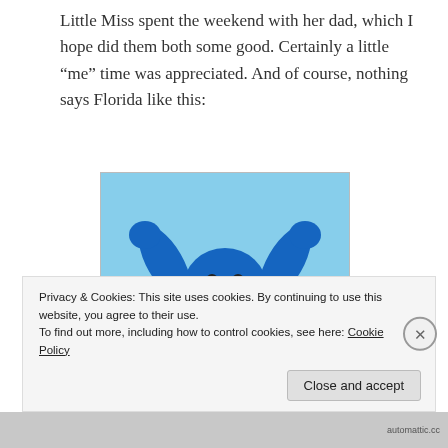Little Miss spent the weekend with her dad, which I hope did them both some good. Certainly a little “me” time was appreciated. And of course, nothing says Florida like this:
[Figure (photo): Large blue gorilla inflatable statue with arms raised, wearing a yellow outfit with a sign on the chest reading 'HUGE SALE', photographed outdoors against a blue sky with palm trees in the background.]
Privacy & Cookies: This site uses cookies. By continuing to use this website, you agree to their use.
To find out more, including how to control cookies, see here: Cookie Policy